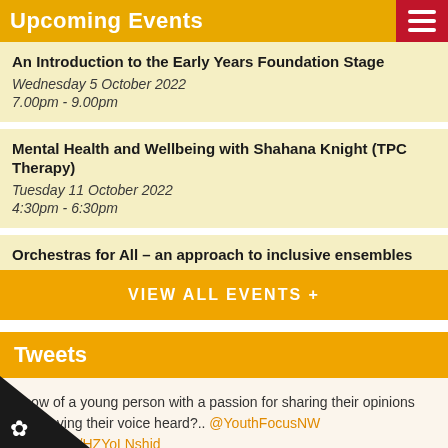Upcoming Events
An Introduction to the Early Years Foundation Stage
Wednesday 5 October 2022
7.00pm - 9.00pm
Mental Health and Wellbeing with Shahana Knight (TPC Therapy)
Tuesday 11 October 2022
4:30pm - 6:30pm
Orchestras for All – an approach to inclusive ensembles
VIEW ALL EVENTS +
Tweets
Know of a young person with a passion for sharing their opinions and having their voice heard?.. @YouthFocusNW https://t.co/HZYoLNshid